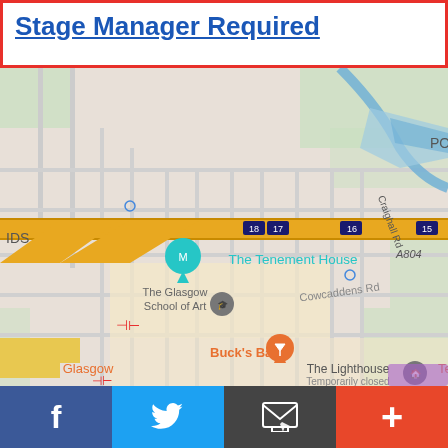Stage Manager Required
[Figure (map): Google Maps screenshot showing area around The Tenement House, Glasgow, including Port Dundas, Glasgow Caledonian University, The Glasgow School of Art, Cowcaddens Rd, Townhead, Buck's Bar, George Square, The Lighthouse, Glasgow Cath, and motorway roads M8/A804.]
Facebook | Twitter | Email | More (+)